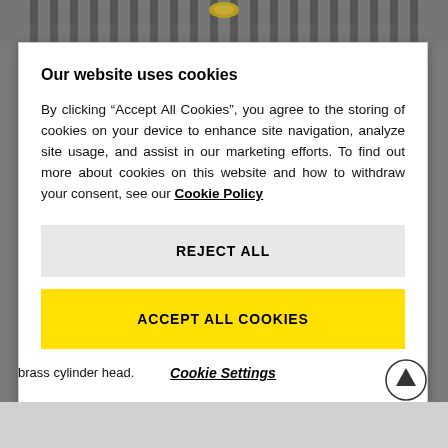[Figure (photo): Top portion of a mechanical device (cylinder head/radiator) visible behind the modal dialog]
Our website uses cookies
By clicking “Accept All Cookies”, you agree to the storing of cookies on your device to enhance site navigation, analyze site usage, and assist in our marketing efforts. To find out more about cookies on this website and how to withdraw your consent, see our Cookie Policy
REJECT ALL
ACCEPT ALL COOKIES
Cookie Settings
brass cylinder head.